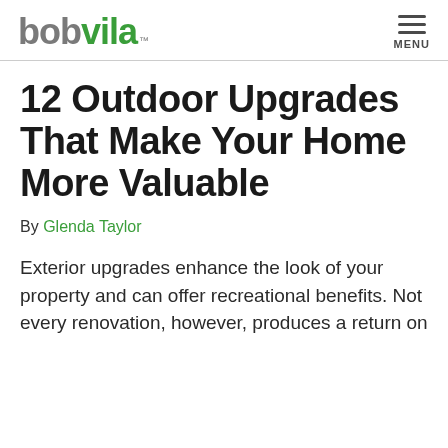bob vila MENU
12 Outdoor Upgrades That Make Your Home More Valuable
By Glenda Taylor
Exterior upgrades enhance the look of your property and can offer recreational benefits. Not every renovation, however, produces a return on